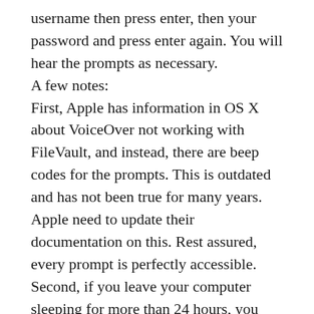username then press enter, then your password and press enter again. You will hear the prompts as necessary.
A few notes:
First, Apple has information in OS X about VoiceOver not working with FileVault, and instead, there are beep codes for the prompts. This is outdated and has not been true for many years. Apple need to update their documentation on this. Rest assured, every prompt is perfectly accessible.
Second, if you leave your computer sleeping for more than 24 hours, you will have to login through FileVault again even to wake the computer up. The same method applies here as I've outlined above.